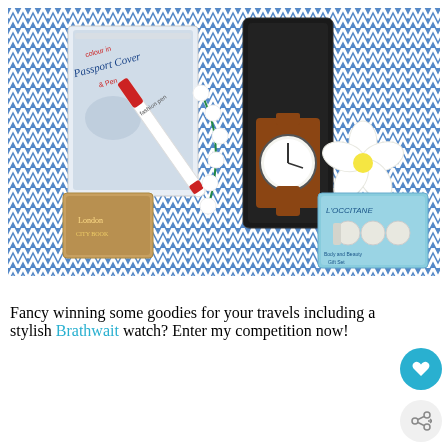[Figure (photo): Flat lay photo on blue and white chevron fabric showing travel goodies: a colour-in passport cover and pen kit, a fashion pen, a decorative floral bead strand, a small tin/book, a watch in black box, a white frangipani flower, and an L'Occitane gift set box.]
Fancy winning some goodies for your travels including a stylish Brathwait watch? Enter my competition now!